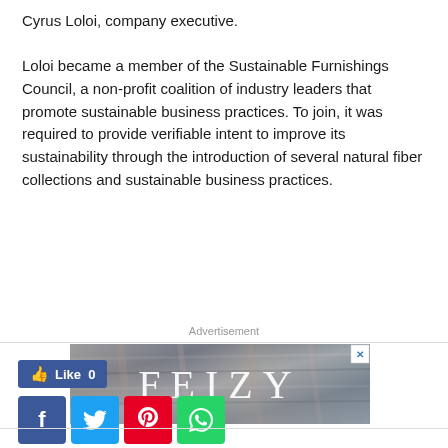Cyrus Loloi, company executive.
Loloi became a member of the Sustainable Furnishings Council, a non-profit coalition of industry leaders that promote sustainable business practices. To join, it was required to provide verifiable intent to improve its sustainability through the introduction of several natural fiber collections and sustainable business practices.
Advertisement
[Figure (photo): Advertisement banner for FEIZY rugs showing rolled rugs in gray/blue tones with the text FEIZY overlaid in large serif letters]
[Figure (infographic): Social sharing buttons: Like button (blue, Facebook style), and four square social media buttons for Facebook (dark blue), Twitter (light blue), Pinterest (red), and WhatsApp (green)]